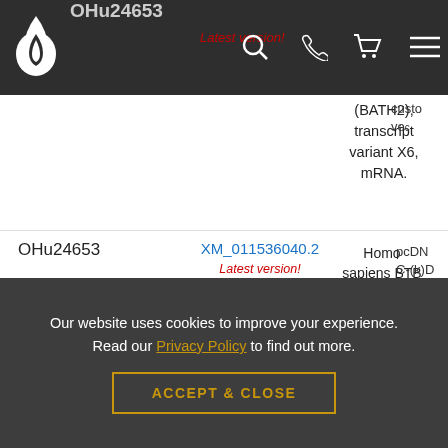OHu24653 navigation bar with logo, search, phone, cart, menu icons
| Product ID | Accession | Description | Vector |
| --- | --- | --- | --- |
| OHu24653 | XM_011536040.2 (Latest version!) | Homo sapiens BTB domain and CNC homolog 2 (BACH2), transcript variant X6, mRNA. | pcDNA C-(k)D custom vec... |
| OHu24653 | XM_011536040.2 (Latest version!) | Homo sapiens BTB domain and CNC homolog 2 (BACH2), transcript variant X7, mRNA. | pcDN C-(k)D custo vec... |
Our website uses cookies to improve your experience. Read our Privacy Policy to find out more.
ACCEPT & CLOSE